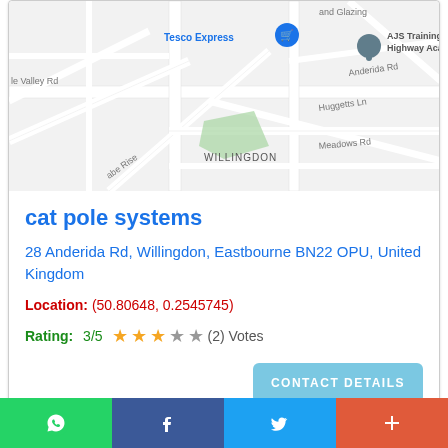[Figure (map): Google Maps screenshot showing Willingdon area near Eastbourne UK, with Tesco Express, AJS Training Highway Academy, Anderida Rd, Huggetts Ln, Meadows Rd street labels visible]
cat pole systems
28 Anderida Rd, Willingdon, Eastbourne BN22 OPU, United Kingdom
Location: (50.80648, 0.2545745)
Rating: 3/5 ★★★☆☆ (2) Votes
CONTACT DETAILS
[Figure (map): Partial map view at bottom of second listing card]
[Figure (infographic): Social share bottom bar with WhatsApp, Facebook, Twitter, and plus buttons]